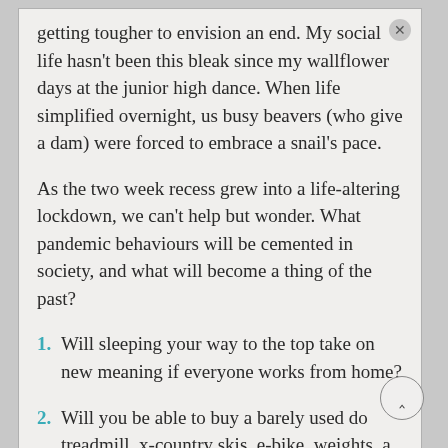getting tougher to envision an end. My social life hasn't been this bleak since my wallflower days at the junior high dance. When life simplified overnight, us busy beavers (who give a dam) were forced to embrace a snail's pace.
As the two week recess grew into a life-altering lockdown, we can't help but wonder. What pandemic behaviours will be cemented in society, and what will become a thing of the past?
1. Will sleeping your way to the top take on new meaning if everyone works from home?
2. Will you be able to buy a barely used do treadmill, x-country skis, e-bike, weights, a bargain basement prices?